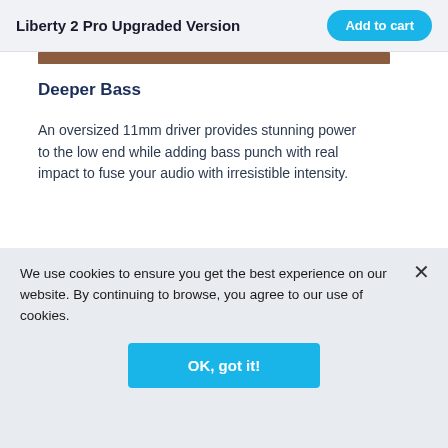Liberty 2 Pro Upgraded Version | Add to cart
[Figure (photo): Brown product image strip at top of content area]
Deeper Bass
An oversized 11mm driver provides stunning power to the low end while adding bass punch with real impact to fuse your audio with irresistible intensity.
[Figure (photo): Dark product image strip showing earphones against dark background]
We use cookies to ensure you get the best experience on our website. By continuing to browse, you agree to our use of cookies.
OK, got it!